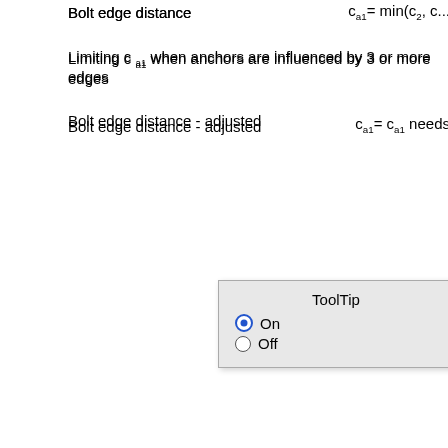Bolt edge distance
Limiting c_a1 when anchors are influenced by 3 or more edges
Bolt edge distance - adjusted
[Figure (screenshot): ToolTip popup with On/Off radio buttons, On is selected]